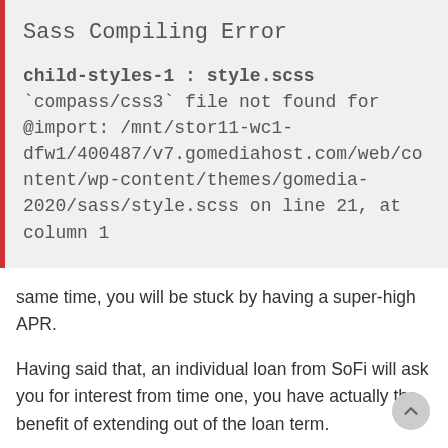Sass Compiling Error
child-styles-1 : style.scss
`compass/css3` file not found for @import: /mnt/stor11-wc1-dfw1/400487/v7.gomediahost.com/web/content/wp-content/themes/gomedia-2020/sass/style.scss on line 21, at column 1
same time, you will be stuck by having a super-high APR.
Having said that, an individual loan from SoFi will ask you for interest from time one, you have actually the benefit of extending out of the loan term.